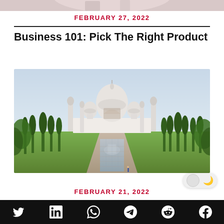[Figure (photo): Partial top image cropped at top of page]
FEBRUARY 27, 2022
Business 101: Pick The Right Product
[Figure (photo): Photo of Taj Mahal with reflecting pool, gardens, and cypress trees]
FEBRUARY 21, 2022
Social media icons: Twitter, LinkedIn, WhatsApp, Telegram, Reddit, Facebook